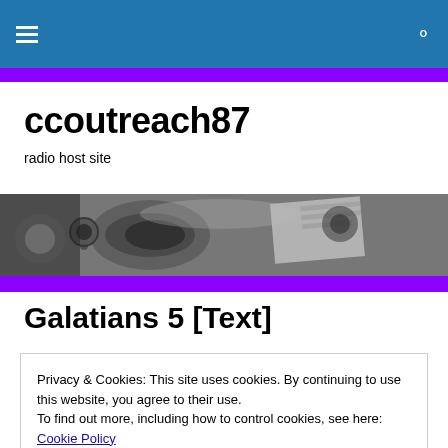ccoutreach87 - radio host site (navigation bar)
ccoutreach87
radio host site
[Figure (photo): Grayscale photograph of radio/audio equipment including headphones and papers on a desk]
Galatians 5 [Text]
GALATIANS 5
Privacy & Cookies: This site uses cookies. By continuing to use this website, you agree to their use.
To find out more, including how to control cookies, see here: Cookie Policy
[Close and accept]